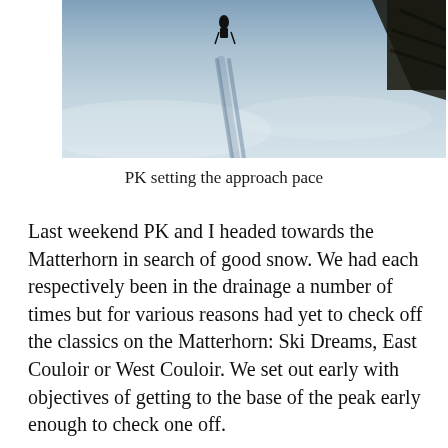[Figure (photo): Aerial or overhead view of a snowy mountain slope with ski tracks in the snow and a dark conifer tree in the upper right corner. A small figure (skier) is visible near the top center.]
PK setting the approach pace
Last weekend PK and I headed towards the Matterhorn in search of good snow. We had each respectively been in the drainage a number of times but for various reasons had yet to check off the classics on the Matterhorn: Ski Dreams, East Couloir or West Couloir. We set out early with objectives of getting to the base of the peak early enough to check one off.